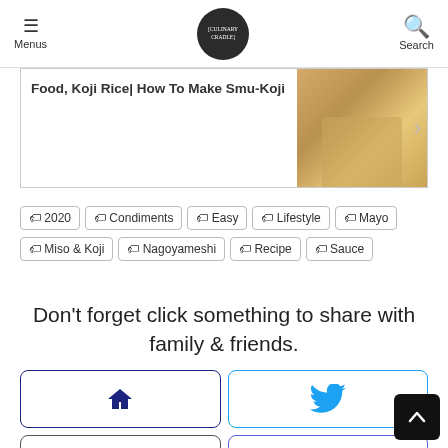Menus | [logo] | Search
Food, Koji Rice| How To Make Smu-Koji
[Figure (photo): Photo of a jar of koji rice]
2020
Condiments
Easy
Lifestyle
Mayo
Miso & Koji
Nagoyameshi
Recipe
Sauce
Don't forget click something to share with family & friends.
[Figure (infographic): Social sharing buttons: Home, Twitter, Facebook, Instagram, YouTube, Pinterest]